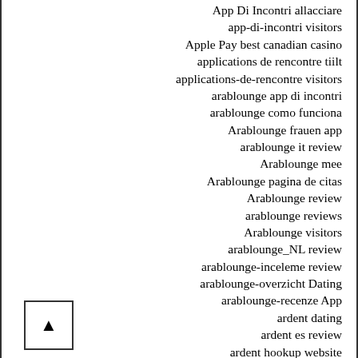App Di Incontri allacciare
app-di-incontri visitors
Apple Pay best canadian casino
applications de rencontre tiilt
applications-de-rencontre visitors
arablounge app di incontri
arablounge como funciona
Arablounge frauen app
arablounge it review
Arablounge mee
Arablounge pagina de citas
Arablounge review
arablounge reviews
Arablounge visitors
arablounge_NL review
arablounge-inceleme review
arablounge-overzicht Dating
arablounge-recenze App
ardent dating
ardent es review
ardent hookup website
ardent Kontakt
Ardent meetic site
Ardent opiniones espana
Ardent premiova apk
Ardent review
ardent sign in